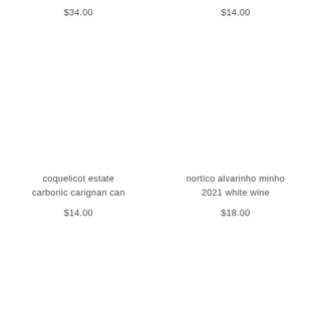$34.00
$14.00
coquelicot estate carbonic carignan can
$14.00
nortico alvarinho minho 2021 white wine
$18.00